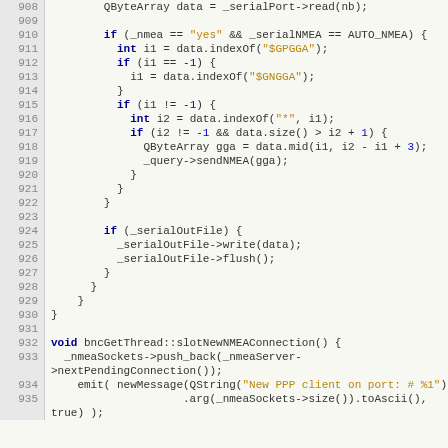[Figure (screenshot): Source code listing in C++ showing lines 908-935 of a file, with syntax highlighting. Dark editor theme on light background with line numbers on the left.]